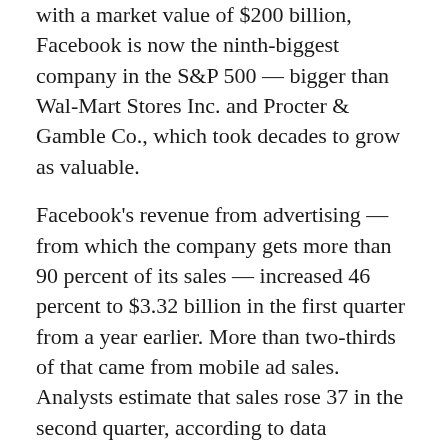with a market value of $200 billion, Facebook is now the ninth-biggest company in the S&P 500 — bigger than Wal-Mart Stores Inc. and Procter & Gamble Co., which took decades to grow as valuable.
Facebook's revenue from advertising — from which the company gets more than 90 percent of its sales — increased 46 percent to $3.32 billion in the first quarter from a year earlier. More than two-thirds of that came from mobile ad sales. Analysts estimate that sales rose 37 in the second quarter, according to data compiled by Bloomberg.
Longer-term, the company plans to serve ads on other applications and websites and to make money from its rapidly growing Instagram, WhatsApp and Messenger apps. Facebook also is betting on its $2 billion purchase last year of Oculus VR Inc., a virtual reality headset